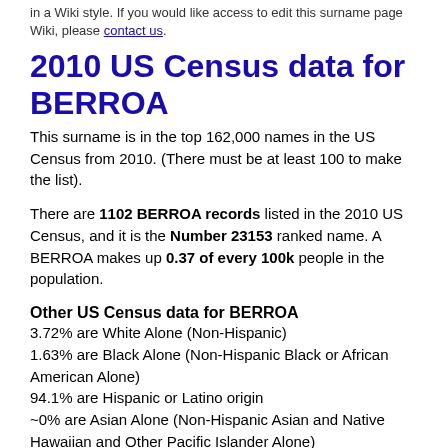in a Wiki style. If you would like access to edit this surname page Wiki, please contact us.
2010 US Census data for BERROA
This surname is in the top 162,000 names in the US Census from 2010. (There must be at least 100 to make the list).
There are 1102 BERROA records listed in the 2010 US Census, and it is the Number 23153 ranked name. A BERROA makes up 0.37 of every 100k people in the population.
Other US Census data for BERROA
3.72% are White Alone (Non-Hispanic)
1.63% are Black Alone (Non-Hispanic Black or African American Alone)
94.1% are Hispanic or Latino origin
~0% are Asian Alone (Non-Hispanic Asian and Native Hawaiian and Other Pacific Islander Alone)
~0% are American Indian (Non-Hispanic